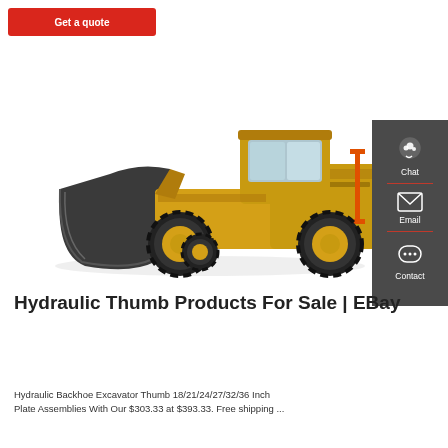[Figure (other): Red 'Get a quote' button at top left]
[Figure (photo): Yellow and black front loader / wheel loader construction machine on white background, with large bucket attachment]
Hydraulic Thumb Products For Sale | EBay
Hydraulic Backhoe Excavator Thumb 18/21/24/27/32/36 Inch Plate Assemblies With Our $303.33 at $393.33. Free shipping ...